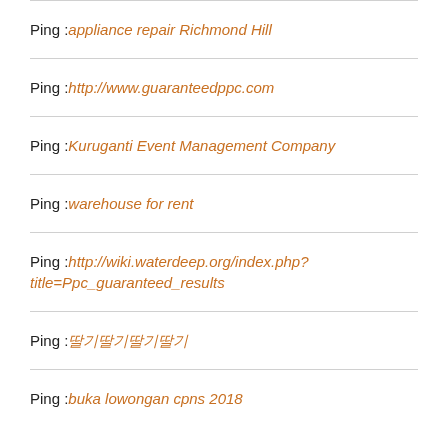Ping :appliance repair Richmond Hill
Ping :http://www.guaranteedppc.com
Ping :Kuruganti Event Management Company
Ping :warehouse for rent
Ping :http://wiki.waterdeep.org/index.php?title=Ppc_guaranteed_results
Ping :딸기딸기딸기딸기
Ping :buka lowongan cpns 2018